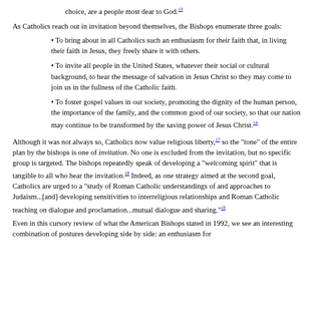choice, are a people most dear to God.15
As Catholics reach out in invitation beyond themselves, the Bishops enumerate three goals:
• To bring about in all Catholics such an enthusiasm for their faith that, in living their faith in Jesus, they freely share it with others.
• To invite all people in the United States, whatever their social or cultural background, to hear the message of salvation in Jesus Christ so they may come to join us in the fullness of the Catholic faith.
• To foster gospel values in our society, promoting the dignity of the human person, the importance of the family, and the common good of our society, so that our nation may continue to be transformed by the saving power of Jesus Christ.16
Although it was not always so, Catholics now value religious liberty,17 so the "tone" of the entire plan by the bishops is one of invitation. No one is excluded from the invitation, but no specific group is targeted. The bishops repeatedly speak of developing a "welcoming spirit" that is tangible to all who hear the invitation.18 Indeed, as one strategy aimed at the second goal, Catholics are urged to a "study of Roman Catholic understandings of and approaches to Judaism...[and] developing sensitivities to interreligious relationships and Roman Catholic teaching on dialogue and proclamation...mutual dialogue and sharing."19
Even in this cursory review of what the American Bishops stated in 1992, we see an interesting combination of postures developing side by side: an enthusiasm for